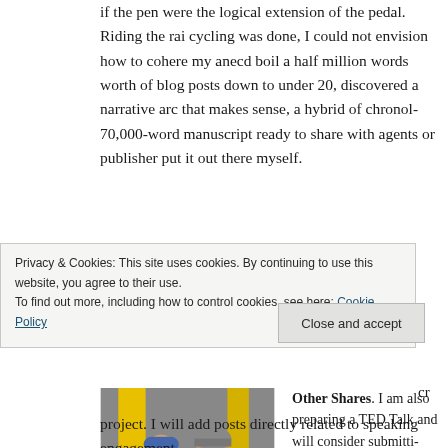if the pen were the logical extension of the pedal. Riding the rai... cycling was done, I could not envision how to cohere my anec... boil a half million words worth of blog posts down to under 20,... discovered a narrative arc that makes sense, a hybrid of chronol... 70,000-word manuscript ready to share with agents or publisher... put it out there myself.
[Figure (photo): Two people standing together, one wearing a red t-shirt and blue cap, the other in a yellow shirt with a cycling helmet, in what appears to be a parking garage or industrial space with yellow structural elements.]
Other Shares. I am also preparing a TED Talk and will consider submitti... sharing that people might suggest.
One thing remains consistent. While... journey by shaping stories and image...
Privacy & Cookies: This site uses cookies. By continuing to use this website, you agree to their use.
To find out more, including how to control cookies, see here: Cookie Policy
Close and accept
project. I will add posts directly related to speaking engagement...